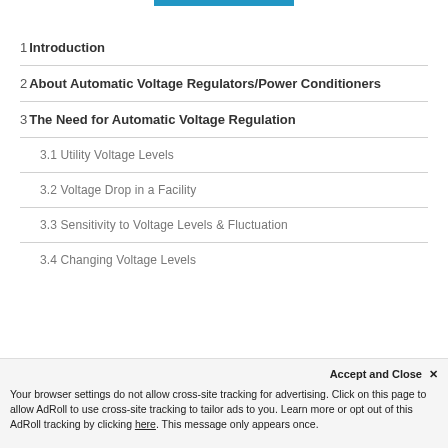1 Introduction
2 About Automatic Voltage Regulators/Power Conditioners
3 The Need for Automatic Voltage Regulation
3.1 Utility Voltage Levels
3.2 Voltage Drop in a Facility
3.3 Sensitivity to Voltage Levels & Fluctuation
3.4 Changing Voltage Levels
Accept and Close ✕
Your browser settings do not allow cross-site tracking for advertising. Click on this page to allow AdRoll to use cross-site tracking to tailor ads to you. Learn more or opt out of this AdRoll tracking by clicking here. This message only appears once.